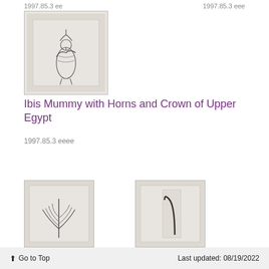1997.85.3 ee
1997.85.3 eee
[Figure (illustration): Sketch/drawing of an ibis mummy figure with horns and crown, pencil on paper, light grey background]
Ibis Mummy with Horns and Crown of Upper Egypt
1997.85.3 eeee
[Figure (illustration): Sketch/drawing of a plant or feather motif, pencil on paper]
[Figure (illustration): Sketch/drawing of a curved staff or crook symbol, pencil on paper]
Go to Top  Last updated: 08/19/2022